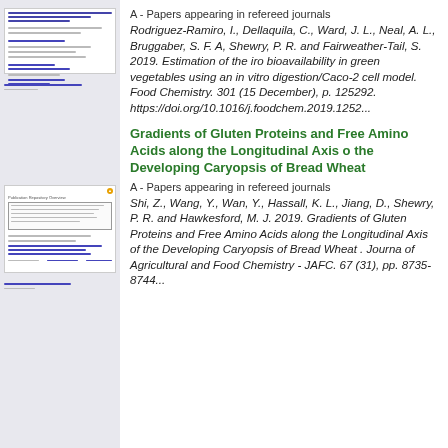[Figure (screenshot): Thumbnail of a publication repository page showing document metadata and blue hyperlinks]
A - Papers appearing in refereed journals
Rodriguez-Ramiro, I., Dellaquila, C., Ward, J. L., Neal, A. L., Bruggaber, S. F. A, Shewry, P. R. and Fairweather-Tail, S. 2019. Estimation of the iron bioavailability in green vegetables using an in vitro digestion/Caco-2 cell model. Food Chemistry. 301 (15 December), p. 125292. https://doi.org/10.1016/j.foodchem.2019.1252...
[Figure (screenshot): Thumbnail of a publication repository page for the Gradients of Gluten Proteins article]
Gradients of Gluten Proteins and Free Amino Acids along the Longitudinal Axis of the Developing Caryopsis of Bread Wheat
A - Papers appearing in refereed journals
Shi, Z., Wang, Y., Wan, Y., Hassall, K. L., Jiang, D., Shewry, P. R. and Hawkesford, M. J. 2019. Gradients of Gluten Proteins and Free Amino Acids along the Longitudinal Axis of the Developing Caryopsis of Bread Wheat . Journal of Agricultural and Food Chemistry - JAFC. 67 (31), pp. 8735-8744.